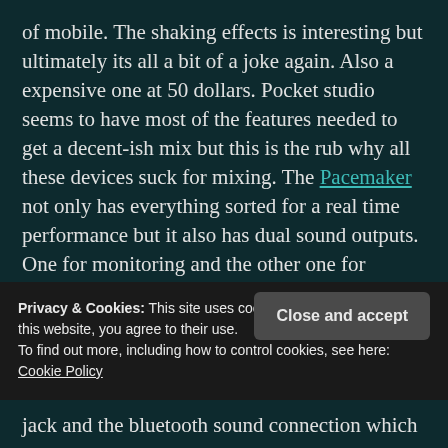of mobile. The shaking effects is interesting but ultimately its all a bit of a joke again. Also a expensive one at 50 dollars. Pocket studio seems to have most of the features needed to get a decent-ish mix but this is the rub why all these devices suck for mixing. The Pacemaker not only has everything sorted for a real time performance but it also has dual sound outputs. One for monitoring and the other one for audience output. This is simply not possible on any of the mobile devices to date. The Samsung
Privacy & Cookies: This site uses cookies. By continuing to use this website, you agree to their use.
To find out more, including how to control cookies, see here: Cookie Policy
Close and accept
jack and the bluetooth sound connection which